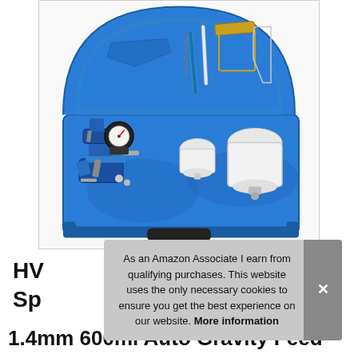[Figure (photo): An open blue plastic carrying case containing an HVLP spray gun kit with two spray guns (one small, one large blue), paint cups, a pressure regulator/gauge, cleaning brushes, wrenches, and other accessories, all organized in molded foam inserts.]
As an Amazon Associate I earn from qualifying purchases. This website uses the only necessary cookies to ensure you get the best experience on our website. More information
HV
Sp
1.4mm 600ml Auto Gravity Feed